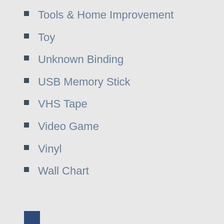Tools & Home Improvement
Toy
Unknown Binding
USB Memory Stick
VHS Tape
Video Game
Vinyl
Wall Chart
Watch
Wine
Wireless Phone
Wireless Phone Accessory